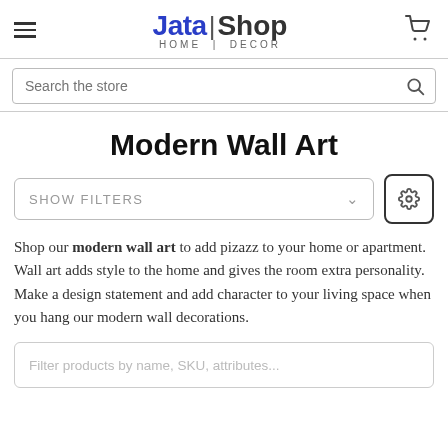[Figure (logo): Jata Shop Home Decor logo with hamburger menu and shopping cart icons]
[Figure (screenshot): Search bar with placeholder text 'Search the store' and search icon]
Modern Wall Art
[Figure (screenshot): Show Filters dropdown and gear/settings button]
Shop our modern wall art to add pizazz to your home or apartment. Wall art adds style to the home and gives the room extra personality. Make a design statement and add character to your living space when you hang our modern wall decorations.
[Figure (screenshot): Filter products by name, SKU, attributes... input box]